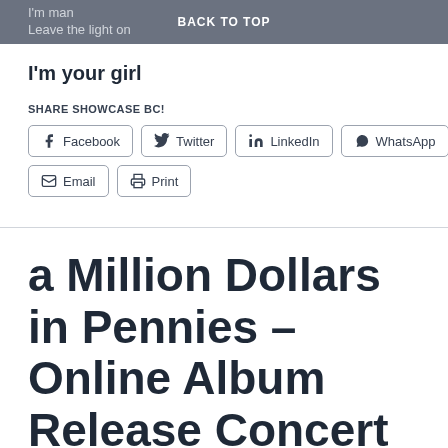I'm man
Leave the light on
BACK TO TOP
I'm your girl
SHARE SHOWCASE BC!
Facebook  Twitter  LinkedIn  WhatsApp  Email  Print
a Million Dollars in Pennies – Online Album Release Concert